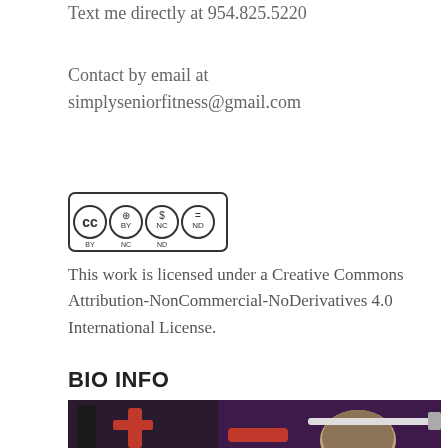Text me directly at 954.825.5220
Contact by email at simplyseniorfitness@gmail.com
[Figure (logo): Creative Commons Attribution-NonCommercial-NoDerivatives license badge (CC BY NC ND)]
This work is licensed under a Creative Commons Attribution-NonCommercial-NoDerivatives 4.0 International License.
BIO INFO
[Figure (photo): Photo of a person in a gym setting with exercise equipment, shot from above/behind showing the back of their head, with red equipment visible in the background against a dark purple backdrop.]